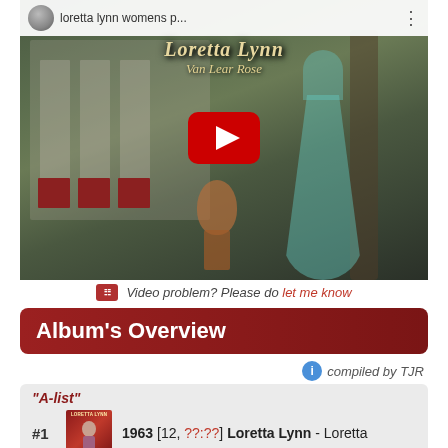[Figure (screenshot): YouTube video thumbnail showing Loretta Lynn album 'Van Lear Rose' with a woman in a teal ball gown standing near a house and guitar, with a red play button overlay. Video title bar reads 'loretta lynn womens p...']
Video problem? Please do let me know
Album's Overview
compiled by TJR
"A-list"
#1  1963 [12, ??:??] Loretta Lynn - Loretta